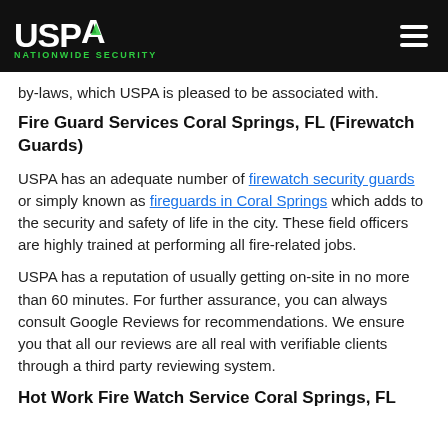USPA NATIONWIDE SECURITY
by-laws, which USPA is pleased to be associated with.
Fire Guard Services Coral Springs, FL (Firewatch Guards)
USPA has an adequate number of firewatch security guards or simply known as fireguards in Coral Springs which adds to the security and safety of life in the city. These field officers are highly trained at performing all fire-related jobs.
USPA has a reputation of usually getting on-site in no more than 60 minutes. For further assurance, you can always consult Google Reviews for recommendations. We ensure you that all our reviews are all real with verifiable clients through a third party reviewing system.
Hot Work Fire Watch Service Coral Springs, FL